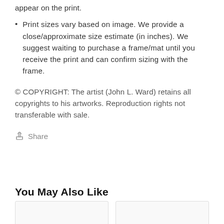appear on the print.
Print sizes vary based on image. We provide a close/approximate size estimate (in inches). We suggest waiting to purchase a frame/mat until you receive the print and can confirm sizing with the frame.
© COPYRIGHT: The artist (John L. Ward) retains all copyrights to his artworks. Reproduction rights not transferable with sale.
Share
You May Also Like